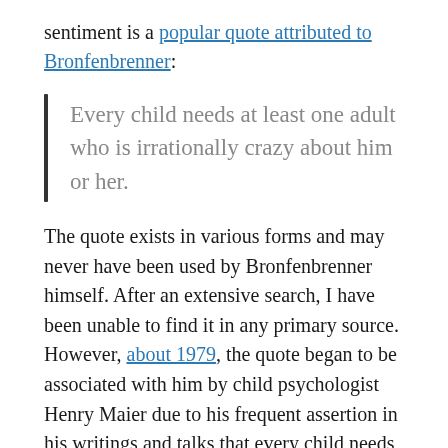sentiment is a popular quote attributed to Bronfenbrenner:
Every child needs at least one adult who is irrationally crazy about him or her.
The quote exists in various forms and may never have been used by Bronfenbrenner himself. After an extensive search, I have been unable to find it in any primary source. However, about 1979, the quote began to be associated with him by child psychologist Henry Maier due to his frequent assertion in his writings and talks that every child needs an adult to have an irrational involvement with